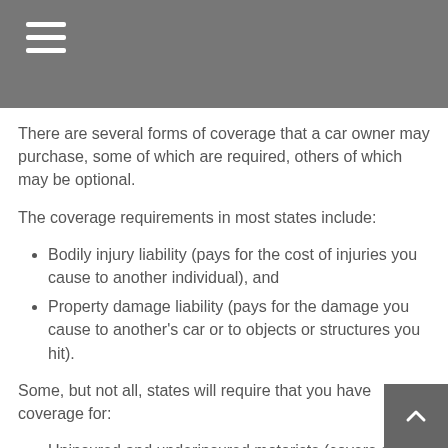Types of Coverage
There are several forms of coverage that a car owner may purchase, some of which are required, others of which may be optional.
The coverage requirements in most states include:
Bodily injury liability (pays for the cost of injuries you cause to another individual), and
Property damage liability (pays for the damage you cause to another's car or to objects or structures you hit).
Some, but not all, states will require that you have coverage for:
Uninsured and underinsured motorists (covers costs associated with being hit by an uninsured underinsured driver, or in the case of a hit-and-run accident), and